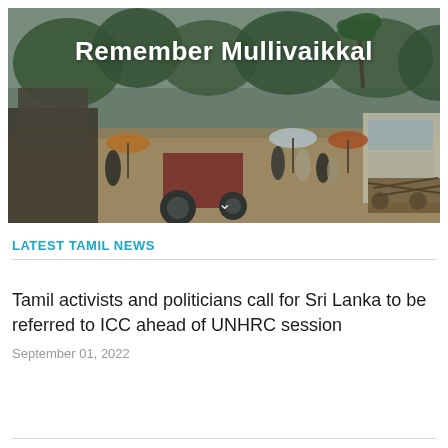[Figure (photo): Banner photograph of a crowd of people with umbrellas, tractors, and vehicles on a dirt road, with trees in the background. White bold text overlay reads 'Remember Mullivaikkal'.]
LATEST TAMIL NEWS
Tamil activists and politicians call for Sri Lanka to be referred to ICC ahead of UNHRC session
September 01, 2022